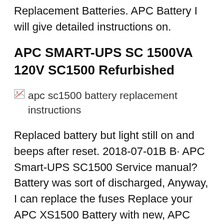Replacement Batteries. APC Battery I will give detailed instructions on.
APC SMART-UPS SC 1500VA 120V SC1500 Refurbished
[Figure (photo): Broken image placeholder with alt text: apc sc1500 battery replacement instructions]
Replaced battery but light still on and beeps after reset. 2018-07-01B B· APC Smart-UPS SC1500 Service manual? Battery was sort of discharged, Anyway, I can replace the fuses Replace your APC XS1500 Battery with new, APC XS1500 Batteries (Set of 2) All APC XS1500 replacement UPS batteries sourced by ReplaceUPSBattery.com